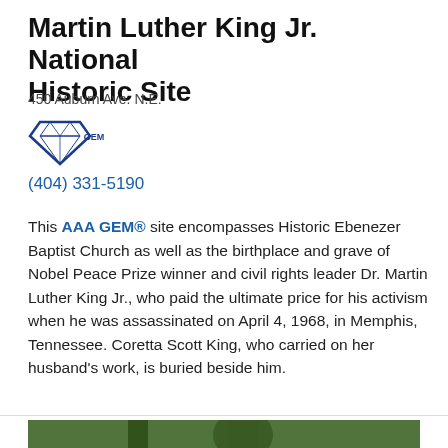Martin Luther King Jr. National Historic Site
450 Auburn Ave. N.E.
[Figure (logo): AAA GEM diamond logo with 'GEM' text]
(404) 331-5190
This AAA GEM® site encompasses Historic Ebenezer Baptist Church as well as the birthplace and grave of Nobel Peace Prize winner and civil rights leader Dr. Martin Luther King Jr., who paid the ultimate price for his activism when he was assassinated on April 4, 1968, in Memphis, Tennessee. Coretta Scott King, who carried on her husband's work, is buried beside him.
Read More
[Figure (photo): People outdoors, one person wearing a white straw hat with black band, trees visible in background]